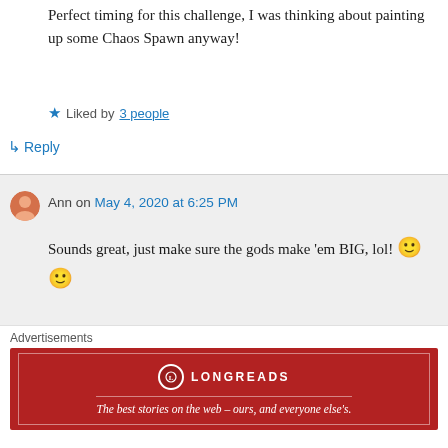Perfect timing for this challenge, I was thinking about painting up some Chaos Spawn anyway!
Liked by 3 people
↳ Reply
Ann on May 4, 2020 at 6:25 PM
Sounds great, just make sure the gods make 'em BIG, lol! 🙂 🙂
Liked by 2 people
↳ Reply
Advertisements
[Figure (logo): Longreads advertisement banner. Red background with Longreads logo and tagline: The best stories on the web – ours, and everyone else's.]